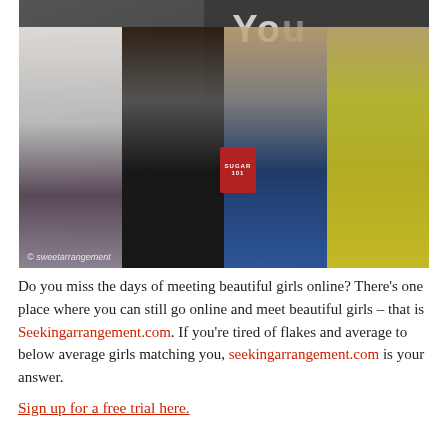[Figure (photo): Four young women posing in front of a chalkboard. One holds a red book labeled 'Sugar 101'. Watermark reads '© sweetarrangement'.]
Do you miss the days of meeting beautiful girls online? There's one place where you can still go online and meet beautiful girls – that is Seekingarrangement.com. If you're tired of flakes and average to below average girls matching you, seekingarrangement.com is your answer.
Sign up for a free trial here.